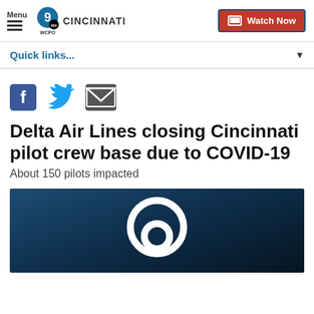Menu | WCPO 9 ABC CINCINNATI | Watch Now
Quick links...
[Figure (infographic): Social share icons: Facebook (blue F), Twitter (blue bird), Email (gray envelope)]
Delta Air Lines closing Cincinnati pilot crew base due to COVID-19
About 150 pilots impacted
[Figure (photo): Dark blue-toned cockpit/aviation image with WCPO 9 logo overlay in white]